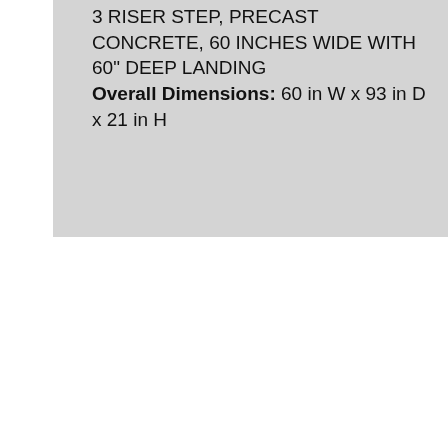3 RISER STEP, PRECAST CONCRETE, 60 INCHES WIDE WITH 60" DEEP LANDING Overall Dimensions: 60 in W x 93 in D x 21 in H